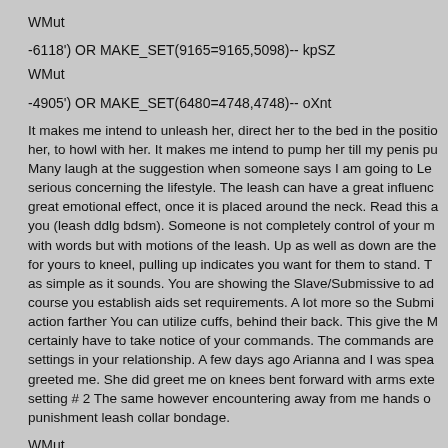WMut
-6118') OR MAKE_SET(9165=9165,5098)-- kpSZ
WMut
-4905') OR MAKE_SET(6480=4748,4748)-- oXnt
It makes me intend to unleash her, direct her to the bed in the position her, to howl with her. It makes me intend to pump her till my penis pu Many laugh at the suggestion when someone says I am going to Le serious concerning the lifestyle. The leash can have a great influenc great emotional effect, once it is placed around the neck. Read this a you (leash ddlg bdsm). Someone is not completely control of your m with words but with motions of the leash. Up as well as down are the for yours to kneel, pulling up indicates you want for them to stand. T as simple as it sounds. You are showing the Slave/Submissive to ad course you establish aids set requirements. A lot more so the Submi action farther You can utilize cuffs, behind their back. This give the M certainly have to take notice of your commands. The commands are settings in your relationship. A few days ago Arianna and I was spea greeted me. She did greet me on knees bent forward with arms exte setting # 2 The same however encountering away from me hands o punishment leash collar bondage.
WMut